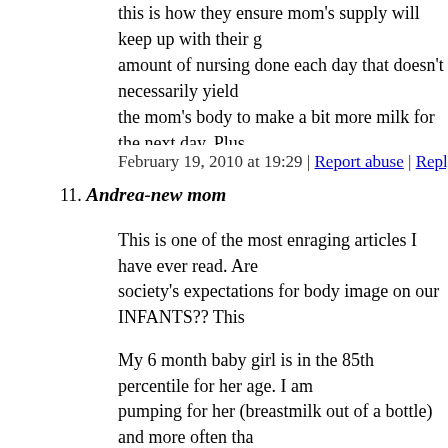this is how they ensure mom's supply will keep up with their g amount of nursing done each day that doesn't necessarily yield the mom's body to make a bit more milk for the next day. Plus, that goes with it) can help regulate a newborns respiration, hea If a baby is being fed from the bottle, either mom's milk or for it's mouth as a source of comfort and the baby satisfied her urg would surely overfeed because there is no ebb and flow with th
February 19, 2010 at 19:29 | Report abuse | Reply
11. Andrea-new mom
This is one of the most enraging articles I have ever read. Are society's expectations for body image on our INFANTS?? This Yes, eating habits are important for children (mimicking their p do not mimic behavior...they eat for a variety of reasons, none behavior leading to obesity.
My 6 month baby girl is in the 85th percentile for her age. I am pumping for her (breastmilk out of a bottle) and more often tha comments about her being chubby. My pediatrician is happy w healthy that is all that matters.
February 22, 2010 at 12:39 | Report abuse | Reply
12. Shanna
Lis: Did your doctor tell you that your baby's weight was perf